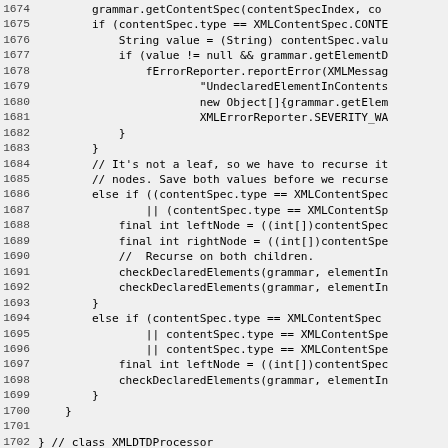[Figure (screenshot): Source code listing showing Java/XML parser code, lines 1674–1702, with line numbers on the left and monospace code on the right. The code shows a method checking declared elements, with conditional branches for XMLContentSpec types, recursion on child nodes, and ends with a closing brace commented as 'class XMLDTDProcessor'.]